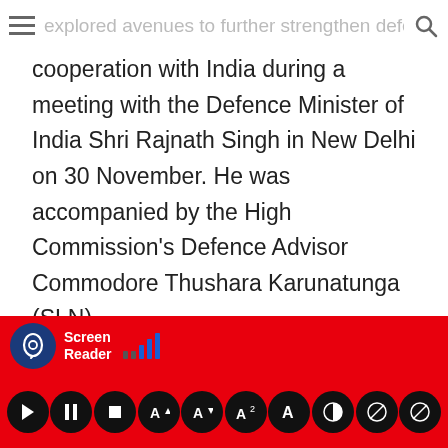explored avenues to further strengthen defence and security
cooperation with India during a meeting with the Defence Minister of India Shri Rajnath Singh in New Delhi on 30 November. He was accompanied by the High Commission's Defence Advisor Commodore Thushara Karunatunga (SLN).
High Commissioner Moragoda thanked Minister Singh for the support that the Indian defence establishment has been extending to Sri Lanka over the years in many spheres, particularly referring to the assistance received in controlling the disastrous fires onboard MT New Diamond and MV Express Pearl off the coast of Sri Lanka; the fires would have resulted in devastating levels of marine pollution in the region
[Figure (screenshot): Screen Reader accessibility toolbar with red background showing audio controls including play, pause, stop, and other accessibility buttons]